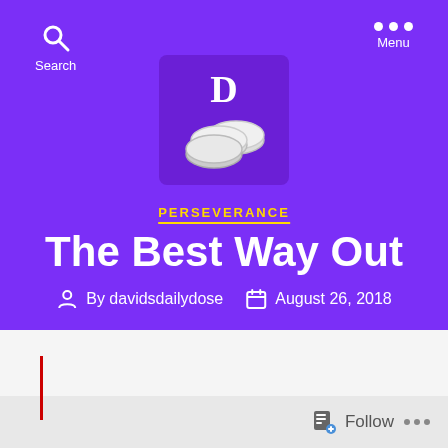[Figure (logo): David's Daily Dose blog logo — purple background with coins and letter D]
PERSEVERANCE
The Best Way Out
By davidsdailydose   August 26, 2018
Follow